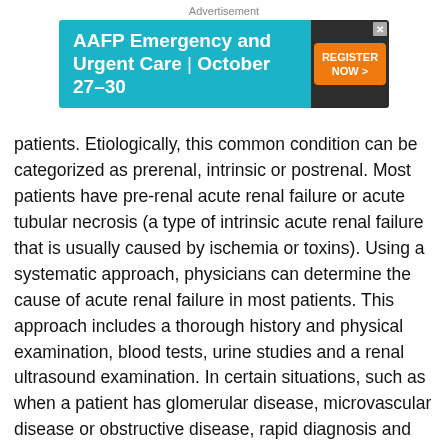Advertisement
[Figure (other): AAFP Emergency and Urgent Care | October 27-30 advertisement banner with teal background and orange Register Now button]
patients. Etiologically, this common condition can be categorized as prerenal, intrinsic or postrenal. Most patients have pre-renal acute renal failure or acute tubular necrosis (a type of intrinsic acute renal failure that is usually caused by ischemia or toxins). Using a systematic approach, physicians can determine the cause of acute renal failure in most patients. This approach includes a thorough history and physical examination, blood tests, urine studies and a renal ultrasound examination. In certain situations, such as when a patient has glomerular disease, microvascular disease or obstructive disease, rapid diagnosis and treatment are necessary to prevent permanent renal damage. By maintaining euvolemia, recognizing patients who are at increased risk and minimizing exposure to nephrotoxins, physicians can